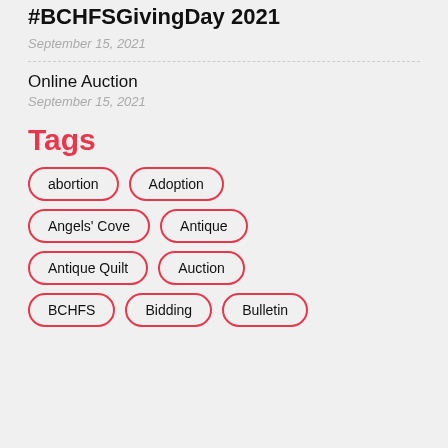#BCHFSGivingDay 2021
September 15, 2021
Online Auction
September 15, 2021
Tags
abortion
Adoption
Angels' Cove
Antique
Antique Quilt
Auction
BCHFS
Bidding
Bulletin